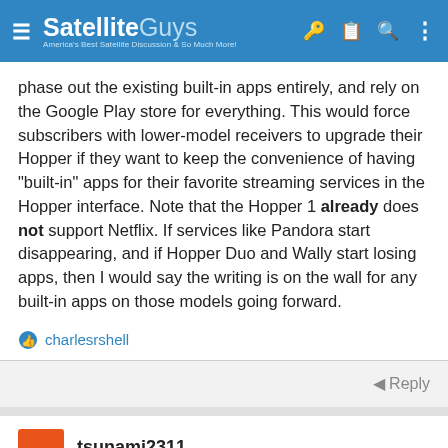SatelliteGuys — America's Best Satellite Discussion & So Much More!
phase out the existing built-in apps entirely, and rely on the Google Play store for everything. This would force subscribers with lower-model receivers to upgrade their Hopper if they want to keep the convenience of having "built-in" apps for their favorite streaming services in the Hopper interface. Note that the Hopper 1 already does not support Netflix. If services like Pandora start disappearing, and if Hopper Duo and Wally start losing apps, then I would say the writing is on the wall for any built-in apps on those models going forward.
charlesrshell
Reply
tsunami2311